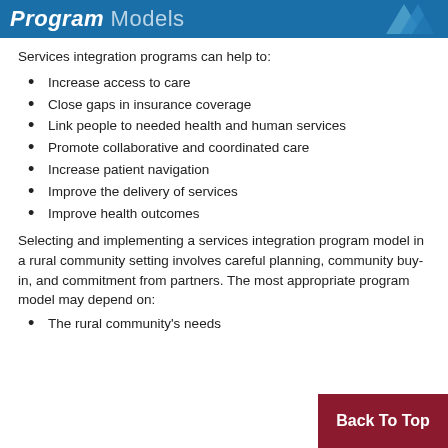Program Models
Services integration programs can help to:
Increase access to care
Close gaps in insurance coverage
Link people to needed health and human services
Promote collaborative and coordinated care
Increase patient navigation
Improve the delivery of services
Improve health outcomes
Selecting and implementing a services integration program model in a rural community setting involves careful planning, community buy-in, and commitment from partners. The most appropriate program model may depend on:
The rural community's needs